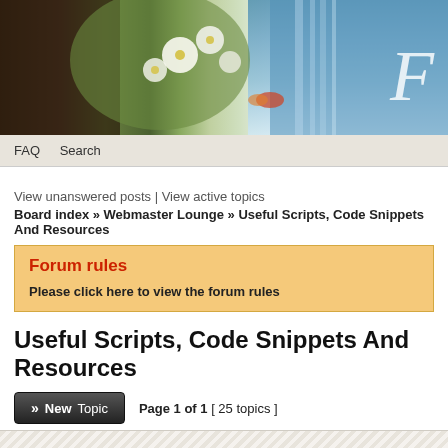[Figure (photo): Forum website header banner with flowers, waterfall, and decorative script letter F]
FAQ  Search
View unanswered posts | View active topics
Board index » Webmaster Lounge » Useful Scripts, Code Snippets And Resources
Forum rules
Please click here to view the forum rules
Useful Scripts, Code Snippets And Resources
>> New Topic   Page 1 of 1  [ 25 topics ]
Topics
Announcements
Global service migration